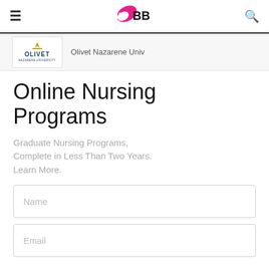≡  IMBB  🔍
[Figure (logo): Olivet Nazarene University logo with gold crown and OLIVET text]
Olivet Nazarene Univ
Online Nursing Programs
Graduate Nursing Programs, Complete in Less Than Two Years. Learn More.
Name
Email